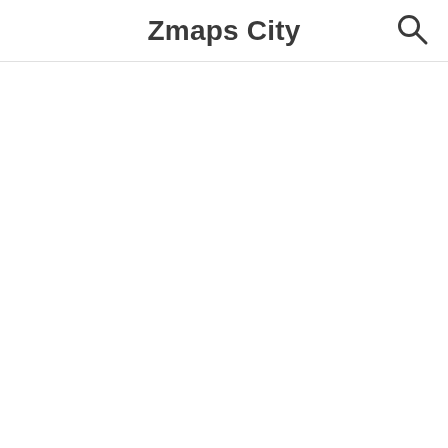Zmaps City
[Figure (other): Search icon (magnifying glass) in the top right corner of the header]